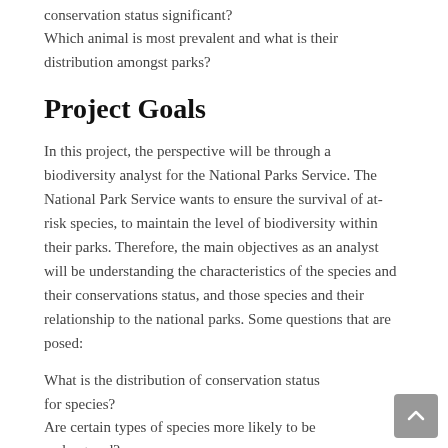conservation status significant? Which animal is most prevalent and what is their distribution amongst parks?
Project Goals
In this project, the perspective will be through a biodiversity analyst for the National Parks Service. The National Park Service wants to ensure the survival of at-risk species, to maintain the level of biodiversity within their parks. Therefore, the main objectives as an analyst will be understanding the characteristics of the species and their conservations status, and those species and their relationship to the national parks. Some questions that are posed:
What is the distribution of conservation status for species?
Are certain types of species more likely to be endangered?
Are the differences between species and their conservation status significant?
Which animal is most prevalent and what is their